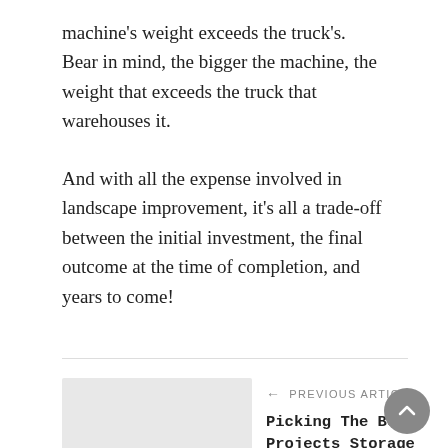machine's weight exceeds the truck's. Bear in mind, the bigger the machine, the weight that exceeds the truck that warehouses it.
And with all the expense involved in landscape improvement, it's all a trade-off between the initial investment, the final outcome at the time of completion, and years to come!
← PREVIOUS ARTICLE
Picking The Best Projects Storage For You